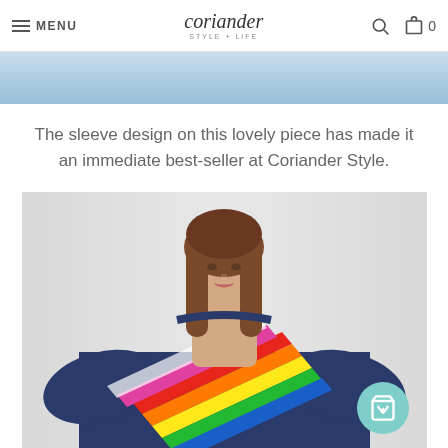MENU | coriander STYLE + LIFE | search | cart 0
[Figure (photo): Partial top image of denim clothing on model — cropped blue denim visible as a strip]
The sleeve design on this lovely piece has made it an immediate best-seller at Coriander Style.
[Figure (photo): Female model wearing a navy blue knit sweater with a diagonal rainbow stripe design across the front/sleeve, against a light grey background. A teal shopping bag icon button appears in the lower right corner.]